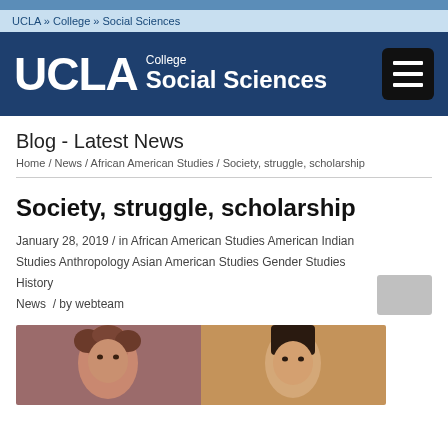UCLA » College » Social Sciences
[Figure (logo): UCLA College Social Sciences logo with hamburger menu button on dark blue background]
Blog - Latest News
Home / News / African American Studies / Society, struggle, scholarship
Society, struggle, scholarship
January 28, 2019 / in African American Studies American Indian Studies Anthropology Asian American Studies Gender Studies History News / by webteam
[Figure (photo): Two women photographed side by side, one with curly hair on the left and one with straight dark hair on the right]